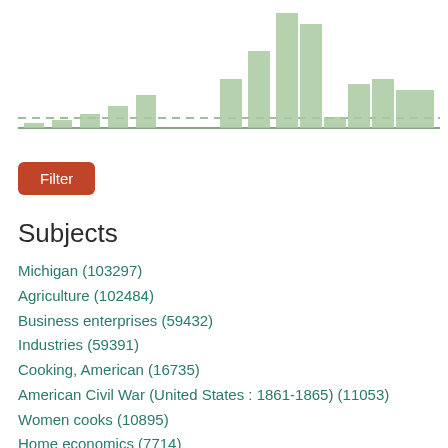[Figure (histogram): Item counts over time]
Filter
Subjects
Michigan (103297)
Agriculture (102484)
Business enterprises (59432)
Industries (59391)
Cooking, American (16735)
American Civil War (United States : 1861-1865) (11053)
Women cooks (10895)
Home economics (7714)
Cooking (7661)